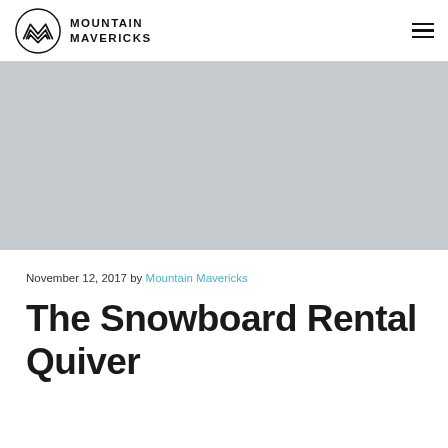[Figure (logo): Mountain Mavericks logo: circular emblem with mountain-like chevron lines and text 'MOUNTAIN MAVERICKS' to the right]
[Figure (photo): Large grey hero image placeholder]
November 12, 2017 by Mountain Mavericks
The Snowboard Rental Quiver